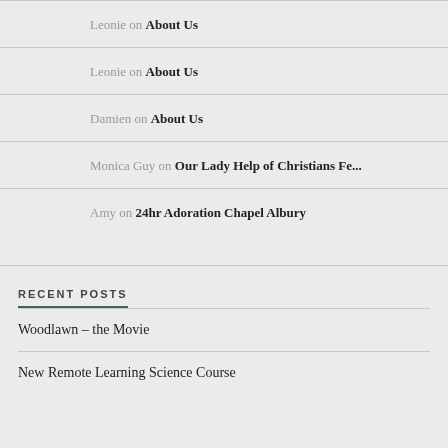Leonie on About Us
Leonie on About Us
Damien on About Us
Monica Guy on Our Lady Help of Christians Fe...
Amy on 24hr Adoration Chapel Albury
RECENT POSTS
Woodlawn – the Movie
New Remote Learning Science Course